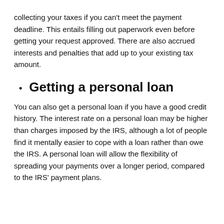collecting your taxes if you can't meet the payment deadline. This entails filling out paperwork even before getting your request approved. There are also accrued interests and penalties that add up to your existing tax amount.
Getting a personal loan
You can also get a personal loan if you have a good credit history. The interest rate on a personal loan may be higher than charges imposed by the IRS, although a lot of people find it mentally easier to cope with a loan rather than owe the IRS. A personal loan will allow the flexibility of spreading your payments over a longer period, compared to the IRS' payment plans.